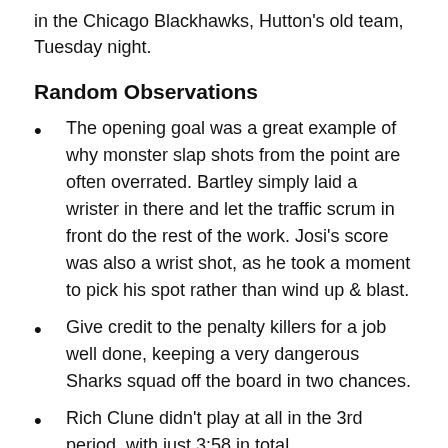in the Chicago Blackhawks, Hutton's old team, Tuesday night.
Random Observations
The opening goal was a great example of why monster slap shots from the point are often overrated. Bartley simply laid a wrister in there and let the traffic scrum in front do the rest of the work. Josi's score was also a wrist shot, as he took a moment to pick his spot rather than wind up & blast.
Give credit to the penalty killers for a job well done, keeping a very dangerous Sharks squad off the board in two chances.
Rich Clune didn't play at all in the 3rd period, with just 3:58 in total.